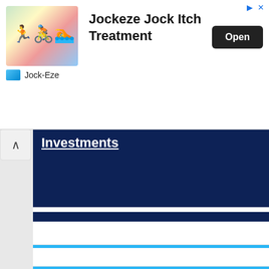[Figure (screenshot): Advertisement banner for Jockeze Jock Itch Treatment product with sports collage image, bold product title, Open button, and Jock-Eze logo]
Investments
DONATE
BTC wallet:
1EZ7v4PdrodnQWbNeBC7dYVWBvCnTurKZ5
ETH wallet:
0x48c1fffc4bc4ba171715b9504e189163c1329560